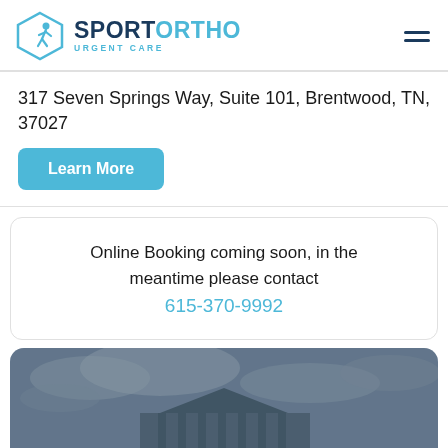[Figure (logo): SportOrtho Urgent Care logo with hexagon icon and text]
317 Seven Springs Way, Suite 101, Brentwood, TN, 37027
Learn More
Online Booking coming soon, in the meantime please contact 615-370-9992
[Figure (photo): Exterior photo of a building under a cloudy sky]